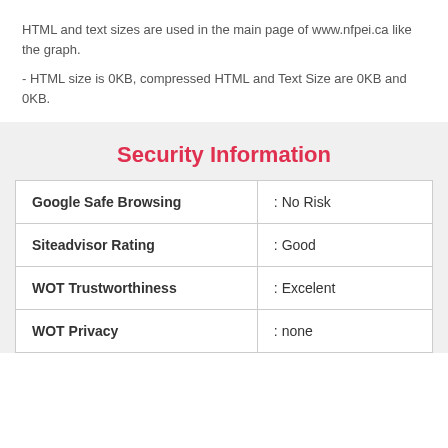HTML and text sizes are used in the main page of www.nfpei.ca like the graph.
- HTML size is 0KB, compressed HTML and Text Size are 0KB and 0KB.
Security Information
| Google Safe Browsing | : No Risk |
| Siteadvisor Rating | : Good |
| WOT Trustworthiness | : Excelent |
| WOT Privacy | : none |